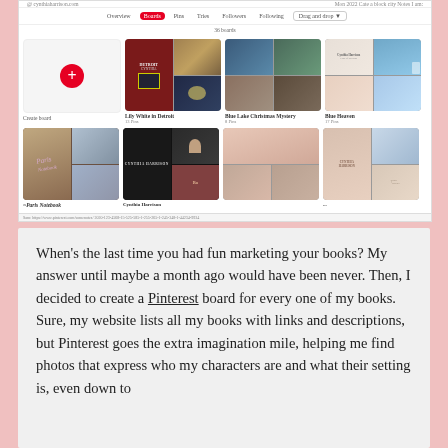[Figure (screenshot): Pinterest boards page for Cynthia Harrison showing navigation tabs (Overview, Boards, Pins, Tries, Followers, Following, Drag and drop), a 'Create board' tile with red plus button, and boards including 'Lily White in Detroit' (13 Pins), 'Blue Lake Christmas Mystery' (8 Pins), 'Blue Heaven' (17 Pins), and a second row with Paris Notebook, Cynthia Harrison, and other boards.]
When's the last time you had fun marketing your books? My answer until maybe a month ago would have been never. Then, I decided to create a Pinterest board for every one of my books. Sure, my website lists all my books with links and descriptions, but Pinterest goes the extra imagination mile, helping me find photos that express who my characters are and what their setting is, even down to